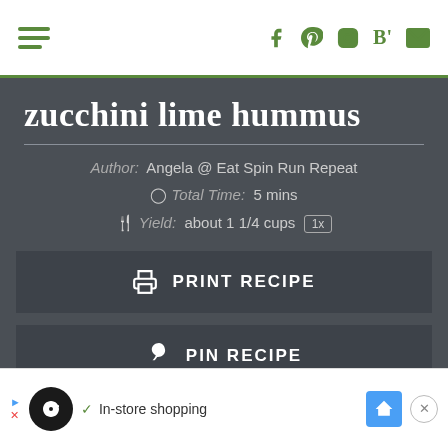Navigation and social icons header
zucchini lime hummus
Author: Angela @ Eat Spin Run Repeat
Total Time: 5 mins
Yield: about 1 1/4 cups 1x
PRINT RECIPE
PIN RECIPE
In-store shopping